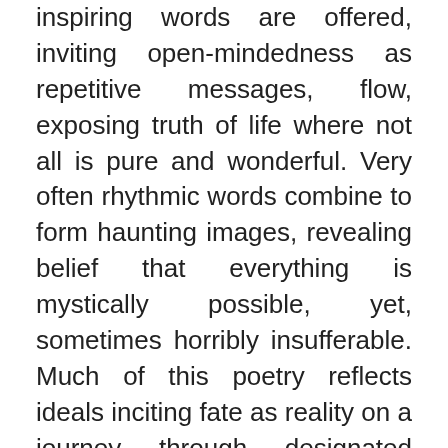inspiring words are offered, inviting open-mindedness as repetitive messages, flow, exposing truth of life where not all is pure and wonderful. Very often rhythmic words combine to form haunting images, revealing belief that everything is mystically possible, yet, sometimes horribly insufferable. Much of this poetry reflects ideals inciting fate as reality on a journey through designated vistas. Many show that, moments of fear obliterate hope, telling we must offer heart-felt prayers to GOD asking to, be shown a new path to our destined eternity. Throughout this book faith is, revealed as uppermost always, testifying to our Creator's power over HIS scientific domain. Existence and illusion intertwined invariably by love or loss are recurring themes explored